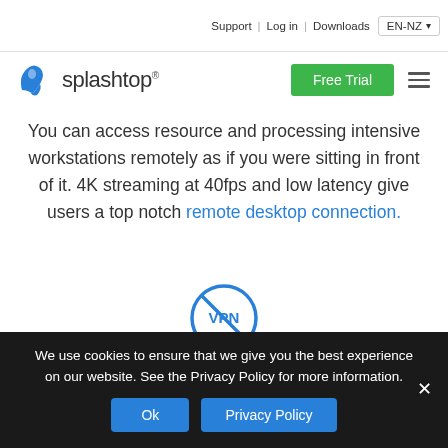Support | Log in | Downloads | EN-NZ
[Figure (logo): Splashtop logo with blue splash icon and wordmark]
You can access resource and processing intensive workstations remotely as if you were sitting in front of it. 4K streaming at 40fps and low latency give users a top notch remote desktop connection.
[Figure (illustration): No-VPN icon: circle with VPN text and a diagonal slash through it]
SUPERIOR TO VPN
Splashtop is faster, more secure, and much easier to deploy and manage than a VPN. That's why Splashtop
We use cookies to ensure that we give you the best experience on our website. See the Privacy Policy for more information.